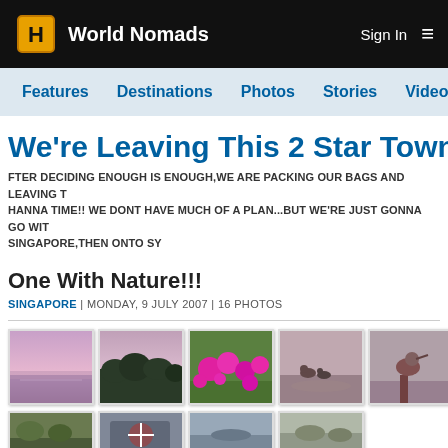World Nomads | Sign In
Features | Destinations | Photos | Stories | Videos | Ta
We're Leaving This 2 Star Town
AFTER DECIDING ENOUGH IS ENOUGH,WE ARE PACKING OUR BAGS AND LEAVING T HANNA TIME!! WE DONT HAVE MUCH OF A PLAN...BUT WE'RE JUST GONNA GO WIT SINGAPORE,THEN ONTO SY
One With Nature!!!
SINGAPORE | MONDAY, 9 JULY 2007 | 16 PHOTOS
[Figure (photo): Row of 5 travel photo thumbnails: pink sunset over water, dark treetops at dusk, bright pink flowers on grass, birds on sand, bird on branch]
[Figure (photo): Partial row of 4 travel photo thumbnails at bottom of page]